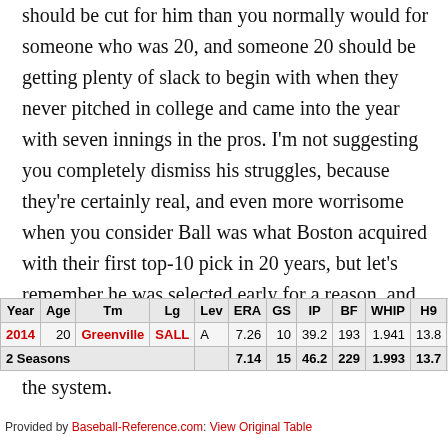should be cut for him than you normally would for someone who was 20, and someone 20 should be getting plenty of slack to begin with when they never pitched in college and came into the year with seven innings in the pros. I'm not suggesting you completely dismiss his struggles, because they're certainly real, and even more worrisome when you consider Ball was what Boston acquired with their first top-10 pick in 20 years, but let's remember he was selected early for a reason, and his youth meant there was always the chance for some awkward speed bumps on his path through the system.
| Year | Age | Tm | Lg | Lev | ERA | GS | IP | BF | WHIP | H9 | HR9 |
| --- | --- | --- | --- | --- | --- | --- | --- | --- | --- | --- | --- |
| 2014 | 20 | Greenville | SALL | A | 7.26 | 10 | 39.2 | 193 | 1.941 | 13.8 | 1.1 |
| 2 Seasons |  |  |  |  | 7.14 | 15 | 46.2 | 229 | 1.993 | 13.7 | 1.2 |
Provided by Baseball-Reference.com: View Original Table